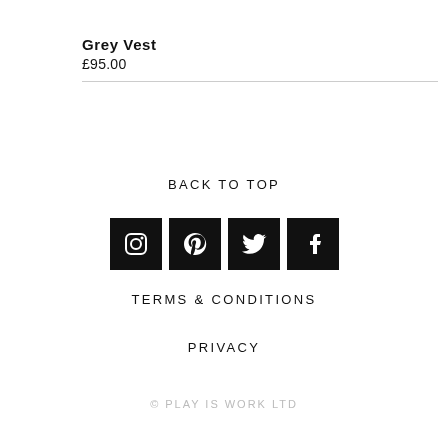Grey Vest
£95.00
BACK TO TOP
[Figure (other): Social media icons: Instagram, Pinterest, Twitter, Facebook — white icons on black square backgrounds]
TERMS & CONDITIONS
PRIVACY
© PLAY IS WORK LTD